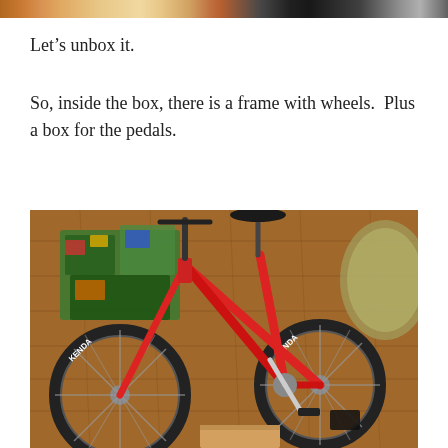[Figure (photo): Top strip showing partial image of products/items on a surface]
Let’s unbox it.
So, inside the box, there is a frame with wheels.  Plus a box for the pedals.
[Figure (photo): A red children's bicycle with Kenda tires sitting on a wooden floor indoors, with Lego sets and a rug visible in the background. A cardboard box is on the floor beneath the bike.]